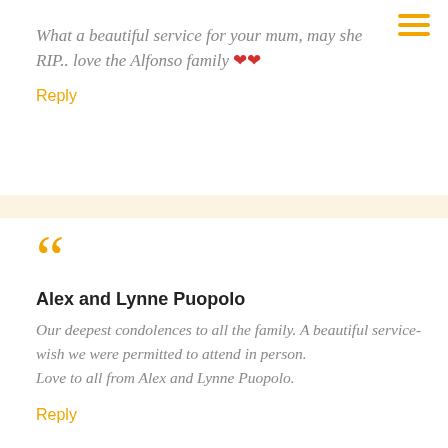What a beautiful service for your mum, may she RIP.. love the Alfonso family ❤️❤️
Reply
Alex and Lynne Puopolo
Our deepest condolences to all the family. A beautiful service-wish we were permitted to attend in person.
Love to all from Alex and Lynne Puopolo.
Reply